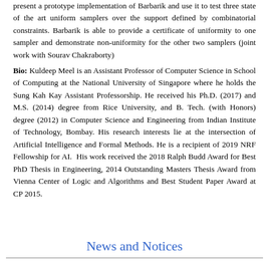present a prototype implementation of Barbarik and use it to test three state of the art uniform samplers over the support defined by combinatorial constraints. Barbarik is able to provide a certificate of uniformity to one sampler and demonstrate non-uniformity for the other two samplers (joint work with Sourav Chakraborty)
Bio: Kuldeep Meel is an Assistant Professor of Computer Science in School of Computing at the National University of Singapore where he holds the Sung Kah Kay Assistant Professorship. He received his Ph.D. (2017) and M.S. (2014) degree from Rice University, and B. Tech. (with Honors) degree (2012) in Computer Science and Engineering from Indian Institute of Technology, Bombay. His research interests lie at the intersection of Artificial Intelligence and Formal Methods. He is a recipient of 2019 NRF Fellowship for AI. His work received the 2018 Ralph Budd Award for Best PhD Thesis in Engineering, 2014 Outstanding Masters Thesis Award from Vienna Center of Logic and Algorithms and Best Student Paper Award at CP 2015.
News and Notices